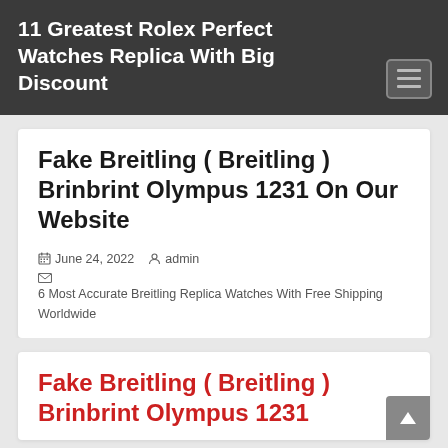11 Greatest Rolex Perfect Watches Replica With Big Discount
Fake Breitling ( Breitling ) Brinbrint Olympus 1231 On Our Website
June 24, 2022  admin  6 Most Accurate Breitling Replica Watches With Free Shipping Worldwide
Fake Breitling ( Breitling ) Brinbrint Olympus 1231